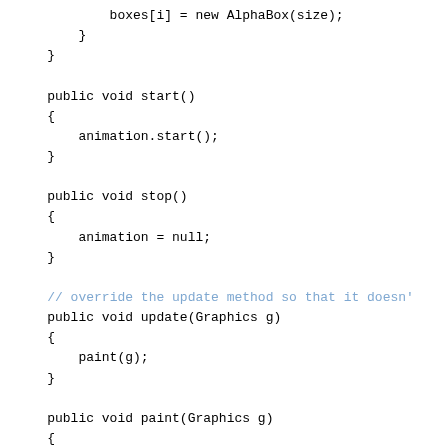boxes[i] = new AlphaBox(size);
        }
    }

    public void start()
    {
        animation.start();
    }

    public void stop()
    {
        animation = null;
    }

    // override the update method so that it doesn't
    public void update(Graphics g)
    {
        paint(g);
    }

    public void paint(Graphics g)
    {
        Graphics2D g2d = (Graphics2D)g;

        // paint each AlphaBox
        for(int i = 0; i < boxes.length; i++)
            {
                boxes[i].paint(g2d);
            }
    }